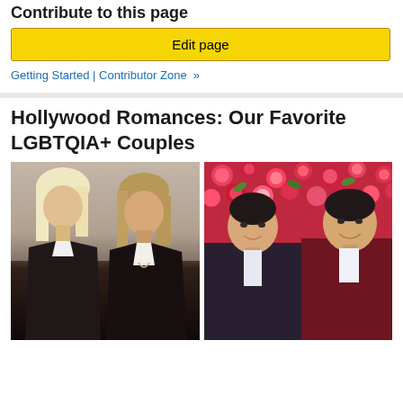Contribute to this page
Edit page
Getting Started | Contributor Zone »
Hollywood Romances: Our Favorite LGBTQIA+ Couples
[Figure (photo): Two women standing together, one with long blonde hair and one with medium blonde hair, both wearing dark blazers over white tops]
[Figure (photo): Two men in formal suits smiling in front of a floral backdrop of pink and red roses]